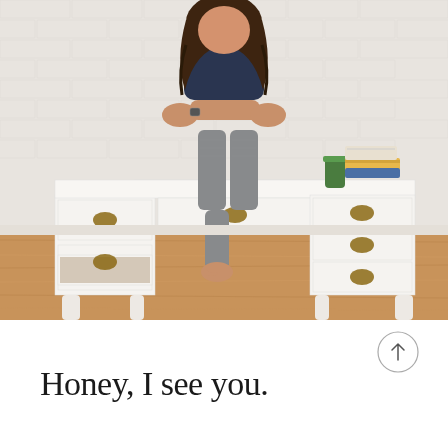[Figure (photo): A woman with long dark curly hair wearing a dark navy v-neck top and grey patterned cropped pants sits on top of a white vintage desk with brass drawer pulls. She has bare feet and one leg is dangling into an open drawer. The desk is set against a white brick wall. To the right is a stack of books and a green juice/smoothie in a glass. The floor is warm wood hardwood. The desk has three drawers on the right pedestal and a drawer on the left pedestal.]
Honey, I see you.